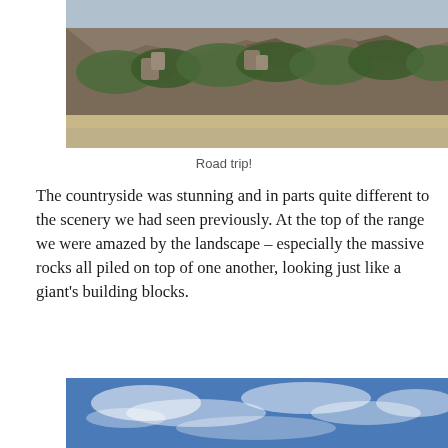[Figure (photo): Photograph of a rocky hillside/mountain range with large boulders and green trees/shrubs, with dry grass or road in the foreground and blue sky at top.]
Road trip!
The countryside was stunning and in parts quite different to the scenery we had seen previously. At the top of the range we were amazed by the landscape – especially the massive rocks all piled on top of one another, looking just like a giant's building blocks.
[Figure (photo): Photograph of a blue sky with wispy white clouds.]